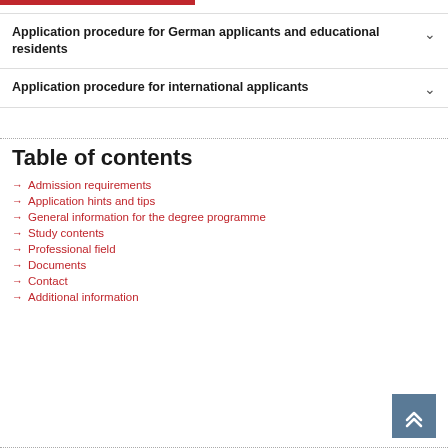Application procedure for German applicants and educational residents
Application procedure for international applicants
Table of contents
Admission requirements
Application hints and tips
General information for the degree programme
Study contents
Professional field
Documents
Contact
Additional information